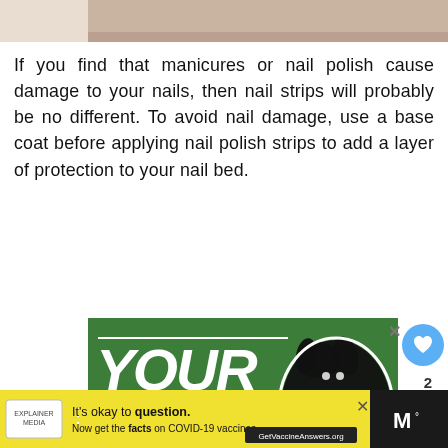[Figure (photo): Partial photo at top of page, showing a light beige/tan surface (likely a nail or skin background)]
If you find that manicures or nail polish cause damage to your nails, then nail strips will probably be no different. To avoid nail damage, use a base coat before applying nail polish strips to add a layer of protection to your nail bed.
[Figure (photo): Advertisement banner with green background showing a black dog and large white text reading 'YOUR NEW PET' with heart icons]
[Figure (infographic): What's Next panel showing a circular thumbnail of nail polish and text 'How Much Nail Polish...']
[Figure (screenshot): Bottom advertisement bar on yellow background: 'It’s okay to question. Now get the facts on COVID-19 vaccines GetVaccineAnswers.org' with a logo on the left]